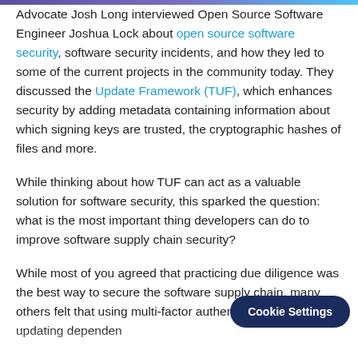Advocate Josh Long interviewed Open Source Software Engineer Joshua Lock about open source software security, software security incidents, and how they led to some of the current projects in the community today. They discussed the Update Framework (TUF), which enhances security by adding metadata containing information about which signing keys are trusted, the cryptographic hashes of files and more.
While thinking about how TUF can act as a valuable solution for software security, this sparked the question: what is the most important thing developers can do to improve software supply chain security?
While most of you agreed that practicing due diligence was the best way to secure the software supply chain, many others felt that using multi-factor authentication (MFA) and updating dependencies were also good solutions for keeping open source software secure.